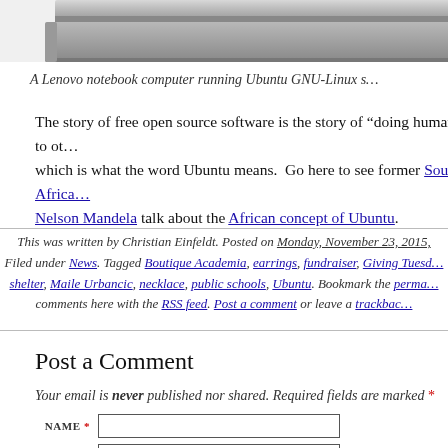[Figure (photo): Bottom portion of a Lenovo notebook computer (laptop) showing the base/hinge area against a white background.]
A Lenovo notebook computer running Ubuntu GNU-Linux s…
The story of free open source software is the story of "doing humanity to ot… which is what the word Ubuntu means. Go here to see former South Africa… Nelson Mandela talk about the African concept of Ubuntu.
This was written by Christian Einfeldt. Posted on Monday, November 23, 2015,. Filed under News. Tagged Boutique Academia, earrings, fundraiser, Giving Tuesd… shelter, Maile Urbancic, necklace, public schools, Ubuntu. Bookmark the perma… comments here with the RSS feed. Post a comment or leave a trackbac…
Post a Comment
Your email is never published nor shared. Required fields are marked *